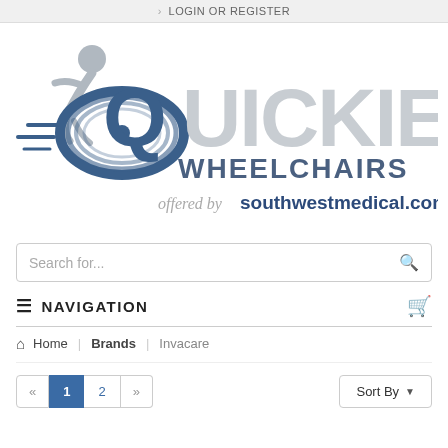> LOGIN OR REGISTER
[Figure (logo): Quickie Wheelchairs logo offered by southwestmedical.com — stylized wheelchair user figure with blue elliptical wheel graphic, QUICKIE in large gray text, WHEELCHAIRS below, offered by southwestmedical.com in dark blue bold text]
Search for...
≡ NAVIGATION
⌂ Home | Brands | Invacare
<< 1 2 >> Sort By ▼